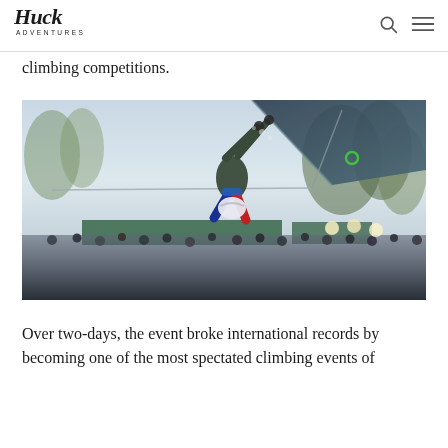Huck Adventures
climbing competitions.
[Figure (photo): A climber hanging upside down from an outdoor overhanging climbing wall at a competition, with a large crowd of spectators visible below and snow-covered trees in the background.]
Over two-days, the event broke international records by becoming one of the most spectated climbing events of